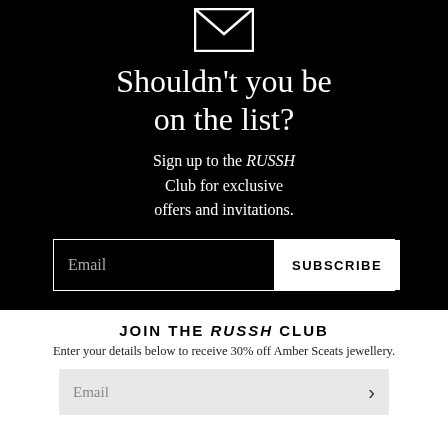[Figure (illustration): Envelope/mail icon in white on black background]
Shouldn't you be on the list?
Sign up to the RUSSH Club for exclusive offers and invitations.
Email [input field] SUBSCRIBE [button]
JOIN THE RUSSH CLUB
Enter your details below to receive 30% off Amber Sceats jewellery.
Email [input field with arrow button]